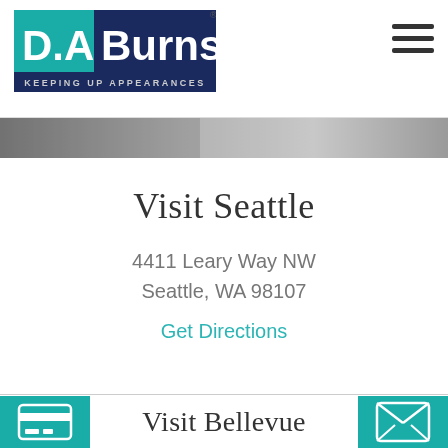[Figure (logo): D.A. Burns logo with teal and navy blue branding and tagline 'KEEPING UP APPEARANCES']
[Figure (illustration): Hamburger menu icon (three horizontal lines) in upper right corner]
[Figure (photo): Narrow horizontal hero image strip, partially visible]
Visit Seattle
4411 Leary Way NW
Seattle, WA 98107
Get Directions
Visit Bellevue
[Figure (illustration): Teal box with credit card icon on bottom left]
[Figure (illustration): Teal box with envelope/mail icon on bottom right]